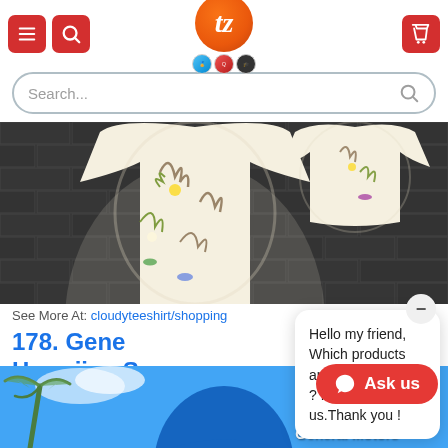Tezostores.com header with menu, search, logo and cart icons
See More At: cloudyteeshirt/shopping
178. Gene Hawaiian S
Hello my friend, Which products are you looking for ? Please text us.Thank you !
[Figure (photo): Hawaiian shirt with tropical floral and leaf pattern displayed against dark brick wall background]
[Figure (photo): Blue General Motors Hawaiian shirt product image with palm trees and blue sky background]
Ask us
General Motors